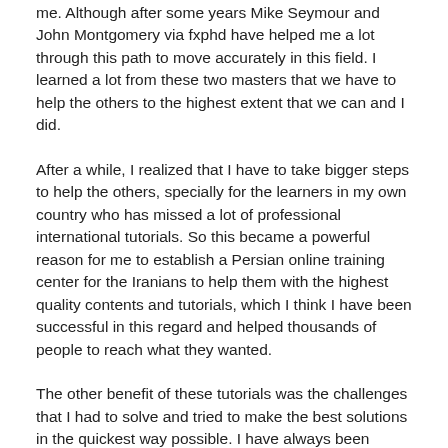me. Although after some years Mike Seymour and John Montgomery via fxphd have helped me a lot through this path to move accurately in this field. I learned a lot from these two masters that we have to help the others to the highest extent that we can and I did.
After a while, I realized that I have to take bigger steps to help the others, specially for the learners in my own country who has missed a lot of professional international tutorials. So this became a powerful reason for me to establish a Persian online training center for the Iranians to help them with the highest quality contents and tutorials, which I think I have been successful in this regard and helped thousands of people to reach what they wanted.
The other benefit of these tutorials was the challenges that I had to solve and tried to make the best solutions in the quickest way possible. I have always been enthusiastic to provide the best and useful lessons to the others. One of the most important issues that I had was the mistrust of the others in Iran with this big question that if these contents are enough accurate or not? To pass this obstacle I thought